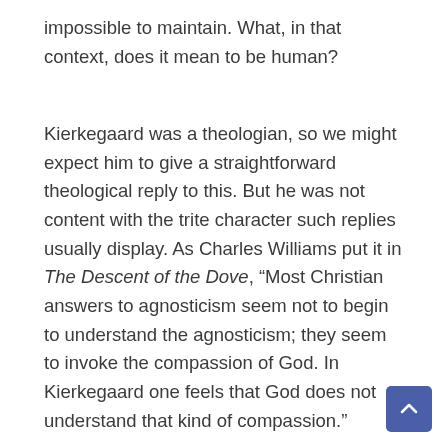impossible to maintain. What, in that context, does it mean to be human?
Kierkegaard was a theologian, so we might expect him to give a straightforward theological reply to this. But he was not content with the trite character such replies usually display. As Charles Williams put it in The Descent of the Dove, “Most Christian answers to agnosticism seem not to begin to understand the agnosticism; they seem to invoke the compassion of God. In Kierkegaard one feels that God does not understand that kind of compassion.”